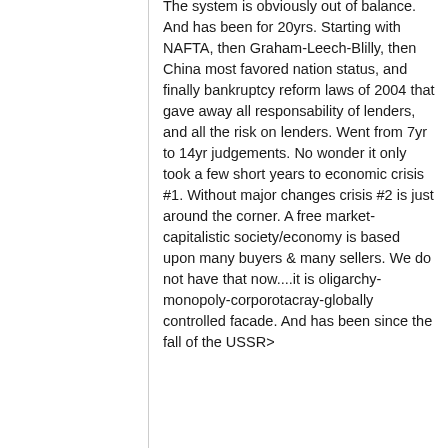The system is obviously out of balance. And has been for 20yrs. Starting with NAFTA, then Graham-Leech-Blilly, then China most favored nation status, and finally bankruptcy reform laws of 2004 that gave away all responsability of lenders, and all the risk on lenders. Went from 7yr to 14yr judgements. No wonder it only took a few short years to economic crisis #1. Without major changes crisis #2 is just around the corner. A free market-capitalistic society/economy is based upon many buyers & many sellers. We do not have that now....it is oligarchy-monopoly-corporotacray-globally controlled facade. And has been since the fall of the USSR>